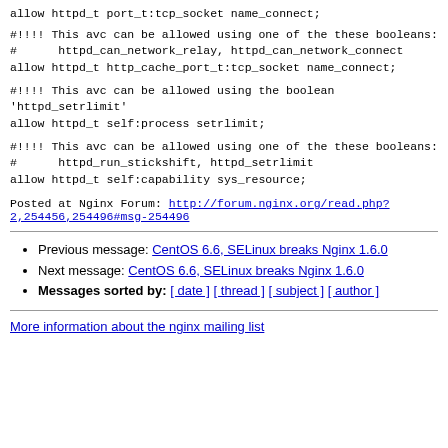allow httpd_t port_t:tcp_socket name_connect;
#!!!! This avc can be allowed using one of the these booleans:
#      httpd_can_network_relay, httpd_can_network_connect
allow httpd_t http_cache_port_t:tcp_socket name_connect;
#!!!! This avc can be allowed using the boolean 'httpd_setrlimit'
allow httpd_t self:process setrlimit;
#!!!! This avc can be allowed using one of the these booleans:
#      httpd_run_stickshift, httpd_setrlimit
allow httpd_t self:capability sys_resource;
Posted at Nginx Forum: http://forum.nginx.org/read.php?2,254456,254496#msg-254496
Previous message: CentOS 6.6, SELinux breaks Nginx 1.6.0
Next message: CentOS 6.6, SELinux breaks Nginx 1.6.0
Messages sorted by: [ date ] [ thread ] [ subject ] [ author ]
More information about the nginx mailing list